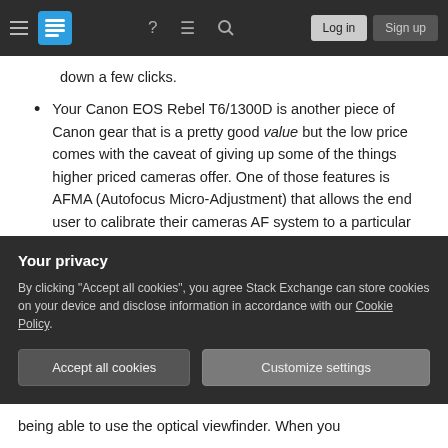Stack Exchange navigation bar with hamburger menu, logo, help, chat, search, Log in and Sign up buttons
down a few clicks.
Your Canon EOS Rebel T6/1300D is another piece of Canon gear that is a pretty good value but the low price comes with the caveat of giving up some of the things higher priced cameras offer. One of those features is AFMA (Autofocus Micro-Adjustment) that allows the end user to calibrate their cameras AF system to a particular lens. If a lens consistently misses in front of the desired subject, AFMA can be used to tell the camera to focus a little further
Your privacy
By clicking "Accept all cookies", you agree Stack Exchange can store cookies on your device and disclose information in accordance with our Cookie Policy.
Accept all cookies
Customize settings
being able to use the optical viewfinder. When you